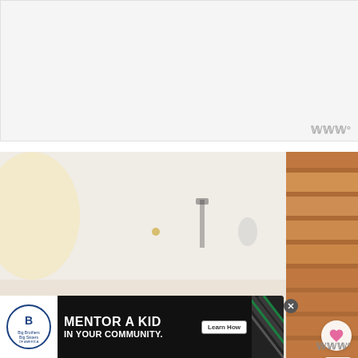[Figure (screenshot): White/light grey blank content area at top of page with small 'www' logo watermark at bottom right]
[Figure (photo): Room interior with a green houseplant (pothos/philodendron) in foreground, blurred white wall background with decorative items, and a wood-slatted orange/brown panel on the right. Social sharing UI overlaid: heart/like button, count badge showing 269, share button, and 'WHAT'S NEXT' panel showing 'How to Wrap and Gift Pla...']
[Figure (screenshot): Advertisement banner at the bottom: Big Brothers Big Sisters of America logo, 'MENTOR A KID IN YOUR COMMUNITY.' text in white on black, 'Learn How' button, diagonal stripe pattern, and close (X) button. Tail.at logo appears at bottom right.]